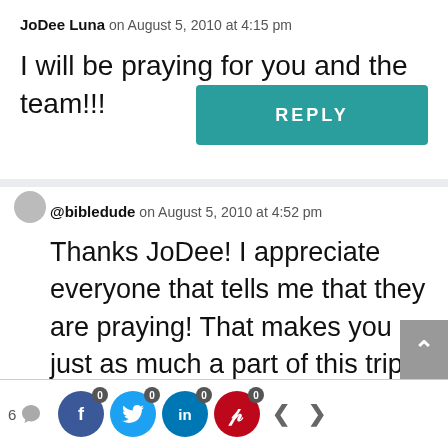JoDee Luna on August 5, 2010 at 4:15 pm
I will be praying for you and the team!!!
REPLY
@bibledude on August 5, 2010 at 4:52 pm
Thanks JoDee! I appreciate everyone that tells me that they are praying! That makes you just as much a part of this trip as I am... that's one of the
6  f 0  t 0  in 0  p 0  < >